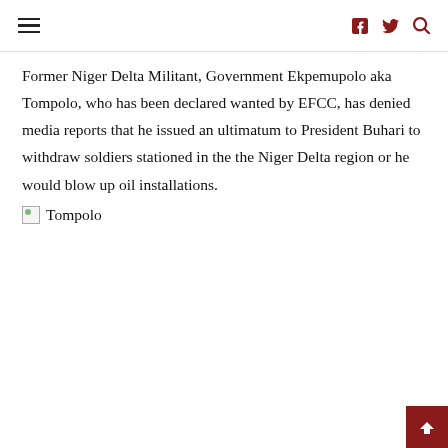≡ f y 🔍
Former Niger Delta Militant, Government Ekpemupolo aka Tompolo, who has been declared wanted by EFCC, has denied media reports that he issued an ultimatum to President Buhari to withdraw soldiers stationed in the the Niger Delta region or he would blow up oil installations.
[Figure (photo): Broken image placeholder labeled 'Tompolo']